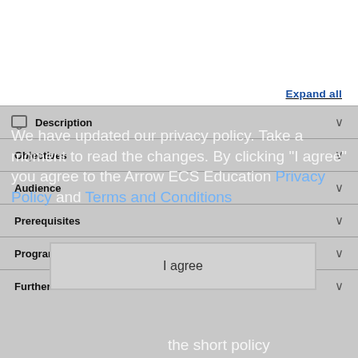Expand all
Description
Objectives
Audience
Prerequisites
Programme
Further Information
We have updated our privacy policy. Take a moment to read the changes. By clicking "I agree" you agree to the Arrow ECS Education Privacy Policy and Terms and Conditions
I agree
the short policy